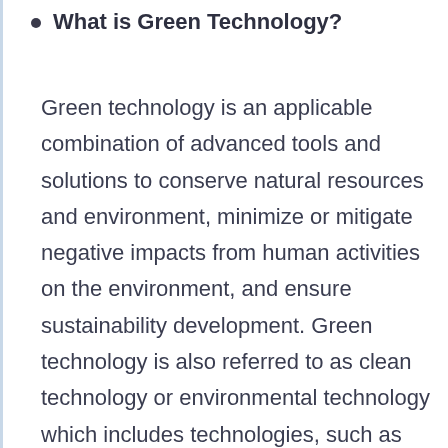What is Green Technology?
Green technology is an applicable combination of advanced tools and solutions to conserve natural resources and environment, minimize or mitigate negative impacts from human activities on the environment, and ensure sustainability development. Green technology is also referred to as clean technology or environmental technology which includes technologies, such as IoT, AI, analytics, blockchain, digital twin, security, and cloud, which collect, integrate, and analyze data from various real-time data sources, such as sensors, cameras, and Global Positioning